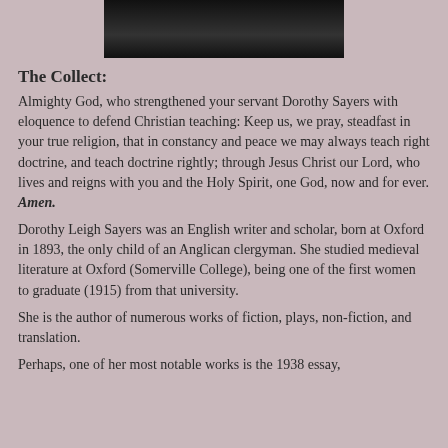[Figure (photo): Partial black and white photograph at top center of page, appearing to show a person in dark tones]
The Collect:
Almighty God, who strengthened your servant Dorothy Sayers with eloquence to defend Christian teaching: Keep us, we pray, steadfast in your true religion, that in constancy and peace we may always teach right doctrine, and teach doctrine rightly; through Jesus Christ our Lord, who lives and reigns with you and the Holy Spirit, one God, now and for ever. Amen.
Dorothy Leigh Sayers was an English writer and scholar, born at Oxford in 1893, the only child of an Anglican clergyman. She studied medieval literature at Oxford (Somerville College), being one of the first women to graduate (1915) from that university.
She is the author of numerous works of fiction, plays, non-fiction, and translation.
Perhaps, one of her most notable works is the 1938 essay,